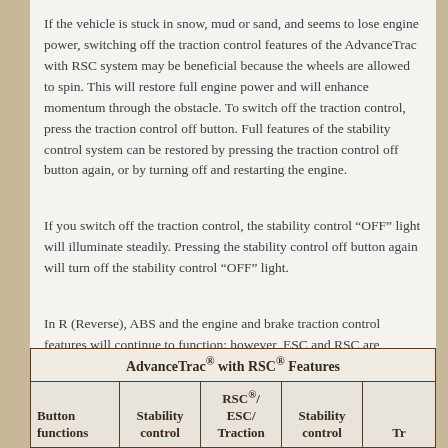If the vehicle is stuck in snow, mud or sand, and seems to lose engine power, switching off the traction control features of the AdvanceTrac with RSC system may be beneficial because the wheels are allowed to spin. This will restore full engine power and will enhance momentum through the obstacle. To switch off the traction control, press the traction control off button. Full features of the stability control system can be restored by pressing the traction control off button again, or by turning off and restarting the engine.
If you switch off the traction control, the stability control “OFF” light will illuminate steadily. Pressing the stability control off button again will turn off the stability control “OFF” light.
In R (Reverse), ABS and the engine and brake traction control features will continue to function; however, ESC and RSC are disabled.
| Button functions | Stability control | RSC®/ESC/Traction | Stability control | Tr |
| --- | --- | --- | --- | --- |